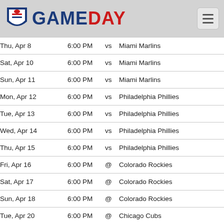GAMEDAY
| Date | Time |  | Opponent |
| --- | --- | --- | --- |
| Thu, Apr 8 | 6:00 PM | vs | Miami Marlins |
| Sat, Apr 10 | 6:00 PM | vs | Miami Marlins |
| Sun, Apr 11 | 6:00 PM | vs | Miami Marlins |
| Mon, Apr 12 | 6:00 PM | vs | Philadelphia Phillies |
| Tue, Apr 13 | 6:00 PM | vs | Philadelphia Phillies |
| Wed, Apr 14 | 6:00 PM | vs | Philadelphia Phillies |
| Thu, Apr 15 | 6:00 PM | vs | Philadelphia Phillies |
| Fri, Apr 16 | 6:00 PM | @ | Colorado Rockies |
| Sat, Apr 17 | 6:00 PM | @ | Colorado Rockies |
| Sun, Apr 18 | 6:00 PM | @ | Colorado Rockies |
| Tue, Apr 20 | 6:00 PM | @ | Chicago Cubs |
| Wed, Apr 21 | 6:00 PM | @ | Chicago Cubs |
| Thu, Apr 22 | 6:00 PM | @ | Chicago Cubs |
| Fri, Apr 23 | 6:00 PM | vs | Washington Nationals |